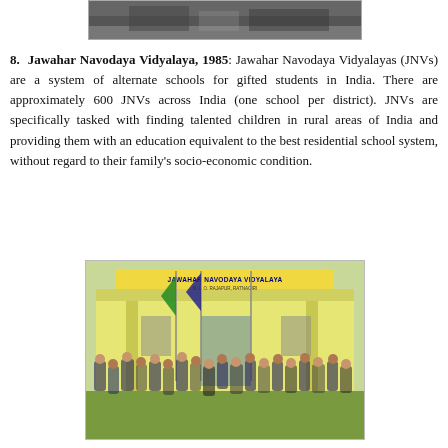[Figure (photo): Partial black and white photo visible at top of page, cropped.]
8. Jawahar Navodaya Vidyalaya, 1985: Jawahar Navodaya Vidyalayas (JNVs) are a system of alternate schools for gifted students in India. There are approximately 600 JNVs across India (one school per district). JNVs are specifically tasked with finding talented children in rural areas of India and providing them with an education equivalent to the best residential school system, without regard to their family's socio-economic condition.
[Figure (photo): Photograph of students in school uniforms (white shirts, dark pants) gathered in front of a Jawahar Navodaya Vidyalaya school building. Green and blue flags on poles are visible. The school sign reads JAWAHAR NAVODAYA VIDYALAYA.]